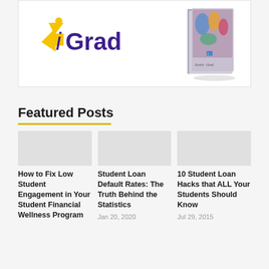[Figure (logo): iGrad logo with yellow arrow/person icon and purple text, alongside a book cover image showing hands with colorful paint]
Featured Posts
How to Fix Low Student Engagement in Your Student Financial Wellness Program
Student Loan Default Rates: The Truth Behind the Statistics
Jan 20, 2020
10 Student Loan Hacks that ALL Your Students Should Know
Jul 29, 2015